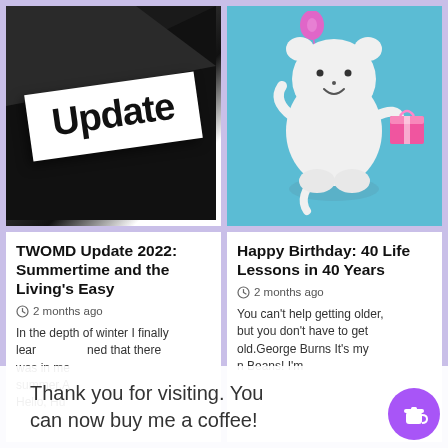[Figure (photo): Dark background with a white card at an angle displaying the word 'Update' in bold black text]
[Figure (illustration): Cute white fluffy bear/cat character holding a gift box with a pink balloon on a blue background]
TWOMD Update 2022: Summertime and the Living's Easy
2 months ago
In the depth of winter I finally learned that there was in me summer.A Hello, Hu
Happy Birthday: 40 Life Lessons in 40 Years
2 months ago
You can't help getting older, but you don't have to get old.George Burns It's my n Beans! I'm
Thank you for visiting. You can now buy me a coffee!